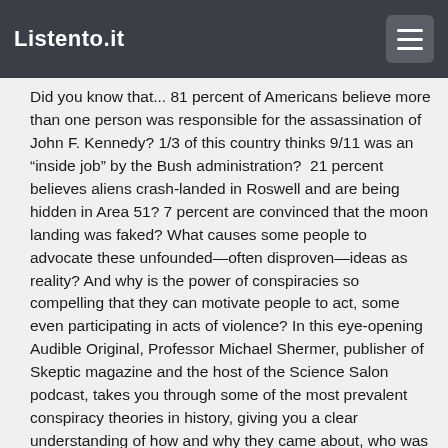Listento.it
Did you know that... 81 percent of Americans believe more than one person was responsible for the assassination of John F. Kennedy? 1/3 of this country thinks 9/11 was an “inside job” by the Bush administration?  21 percent believes aliens crash-landed in Roswell and are being hidden in Area 51? 7 percent are convinced that the moon landing was faked? What causes some people to advocate these unfounded—often disproven—ideas as reality? And why is the power of conspiracies so compelling that they can motivate people to act, some even participating in acts of violence? In this eye-opening Audible Original, Professor Michael Shermer, publisher of Skeptic magazine and the host of the Science Salon podcast, takes you through some of the most prevalent conspiracy theories in history, giving you a clear understanding of how and why they came about, who was likely to believe and perpetuate them, and the reality behind these beliefs. Whether